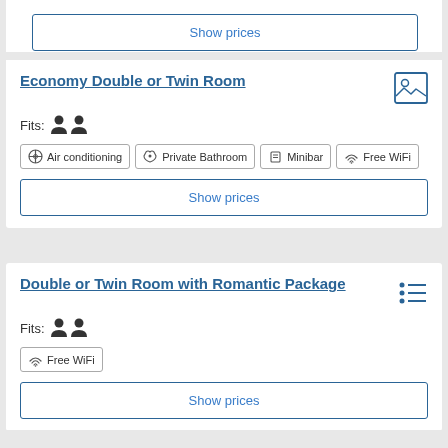Show prices
Economy Double or Twin Room
Fits: 2 people
Air conditioning
Private Bathroom
Minibar
Free WiFi
Show prices
Double or Twin Room with Romantic Package
Fits: 2 people
Free WiFi
Show prices